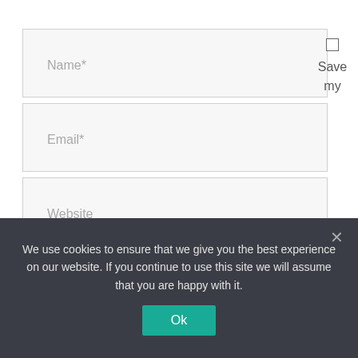[Figure (screenshot): Form input field with placeholder text 'Name*']
[Figure (screenshot): Form input field with placeholder text 'Email*']
[Figure (screenshot): Form input field with placeholder text 'Website']
Save my
name, email, and website in this browser for the next
We use cookies to ensure that we give you the best experience on our website. If you continue to use this site we will assume that you are happy with it.